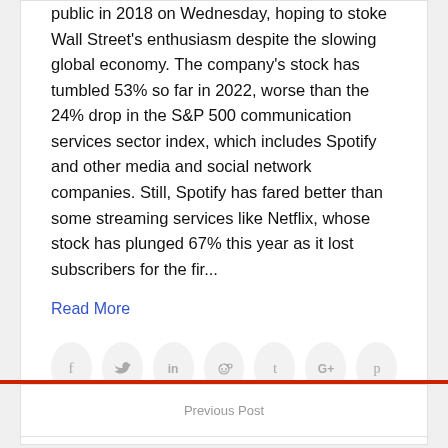public in 2018 on Wednesday, hoping to stoke Wall Street's enthusiasm despite the slowing global economy. The company's stock has tumbled 53% so far in 2022, worse than the 24% drop in the S&P 500 communication services sector index, which includes Spotify and other media and social network companies. Still, Spotify has fared better than some streaming services like Netflix, whose stock has plunged 67% this year as it lost subscribers for the fir...
Read More
[Figure (other): Row of seven social sharing icon circles: Facebook (f), Twitter (bird), LinkedIn (in), Reddit (alien), Tumblr (t), Google+ (G+), Pinterest (p)]
Previous Post